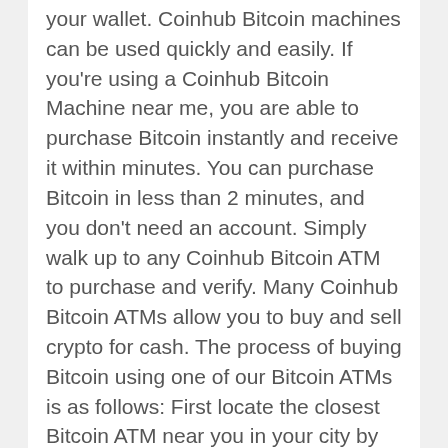your wallet. Coinhub Bitcoin machines can be used quickly and easily. If you're using a Coinhub Bitcoin Machine near me, you are able to purchase Bitcoin instantly and receive it within minutes. You can purchase Bitcoin in less than 2 minutes, and you don't need an account. Simply walk up to any Coinhub Bitcoin ATM to purchase and verify. Many Coinhub Bitcoin ATMs allow you to buy and sell crypto for cash. The process of buying Bitcoin using one of our Bitcoin ATMs is as follows: First locate the closest Bitcoin ATM near you in your city by visiting our Coinhub Bitcoin ATM Locator. Enter your phone number and walk up to the machine. You will then verify your phone with a code and scan your bitcoin wallet. Enter bills one bill at a time for the amount you would like to purchase and confirm the bitcoin atm prior to purchase. Bitcoin is then instantly sent to your wallet. The daily limit for buying Bitcoin is $25,000. We have Bitcoin Machines